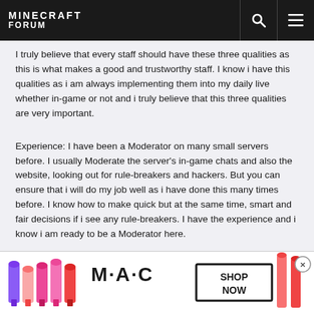MINECRAFT FORUM
I truly believe that every staff should have these three qualities as this is what makes a good and trustworthy staff. I know i have this qualities as i am always implementing them into my daily live whether in-game or not and i truly believe that this three qualities are very important.
Experience: I have been a Moderator on many small servers before. I usually Moderate the server's in-game chats and also the website, looking out for rule-breakers and hackers. But you can ensure that i will do my job well as i have done this many times before. I know how to make quick but at the same time, smart and fair decisions if i see any rule-breakers. I have the experience and i know i am ready to be a Moderator here.
Bans? If so, have you learned from them?: I have never been ban before. I follow the server rules strictly and i do not take any rules that lightly. It is important that both sa...ver is both sa...ugh i
[Figure (other): MAC cosmetics advertisement banner with lipsticks and SHOP NOW button]